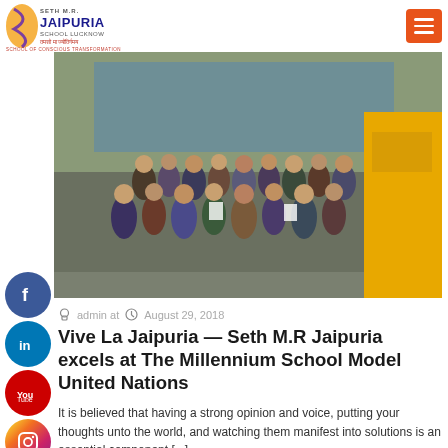Seth M.R. Jaipuria School Lucknow – School of Conscious Transformation
[Figure (photo): Group photo of students and teachers gathered outside a building, likely after an event or competition. Many students are in school uniforms, some holding certificates. A yellow school bus is visible on the right.]
admin at  August 29, 2018
Vive La Jaipuria — Seth M.R Jaipuria excels at The Millennium School Model United Nations
It is believed that having a strong opinion and voice, putting your thoughts unto the world, and watching them manifest into solutions is an essential component [...]